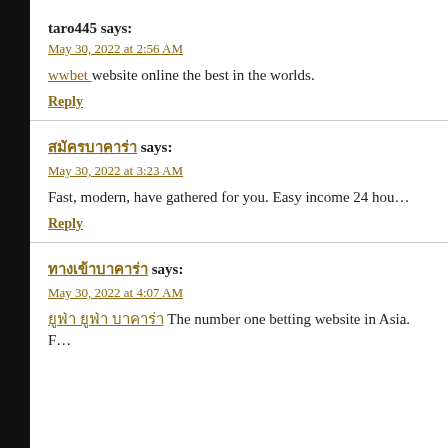taro445 says:
May 30, 2022 at 2:56 AM
wwbet website online the best in the worlds.
Reply
สมัครบาคาร่า says:
May 30, 2022 at 3:23 AM
Fast, modern, have gathered for you. Easy income 24 hou…
Reply
ทางเข้าบาคาร่า says:
May 30, 2022 at 4:07 AM
ยูฟ่า ยูฟ่า บาคาร่า The number one betting website in Asia. F…